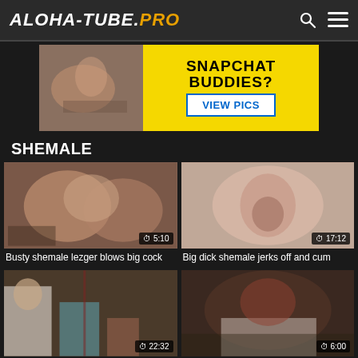ALOHA-TUBE.PRO
[Figure (photo): Advertisement banner for Snapchat Buddies with VIEW PICS button]
SHEMALE
[Figure (photo): Video thumbnail - duration 5:10]
Busty shemale lezger blows big cock
[Figure (photo): Video thumbnail - duration 17:12]
Big dick shemale jerks off and cum
[Figure (photo): Video thumbnail - duration 22:32]
[Figure (photo): Video thumbnail - duration 6:00]